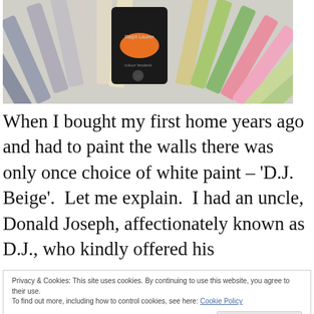[Figure (photo): A fan of paint color swatches including beige, pink, green and other colors, with a black CIL paint brand booklet visible in the center]
When I bought my first home years ago and had to paint the walls there was only once choice of white paint – 'D.J. Beige'.  Let me explain.  I had an uncle, Donald Joseph, affectionately known as D.J., who kindly offered his
Privacy & Cookies: This site uses cookies. By continuing to use this website, you agree to their use.
To find out more, including how to control cookies, see here: Cookie Policy
Beige!